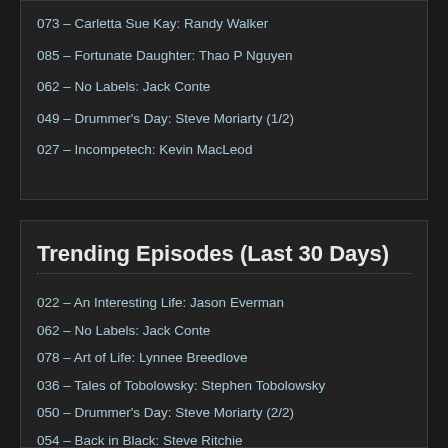073 – Carletta Sue Kay: Randy Walker
085 – Fortunate Daughter: Thao P Nguyen
062 – No Labels: Jack Conte
049 – Drummer's Day: Steve Moriarty (1/2)
027 – Incompetech: Kevin MacLeod
Trending Episodes (Last 30 Days)
022 – An Interesting Life: Jason Everman
062 – No Labels: Jack Conte
078 – Art of Life: Lynnee Breedlove
036 – Tales of Tobolowsky: Stephen Tobolowsky
050 – Drummer's Day: Steve Moriarty (2/2)
054 – Back in Black: Steve Ritchie
070 – Relic of the Modern World: Kurdt Vanderhoof